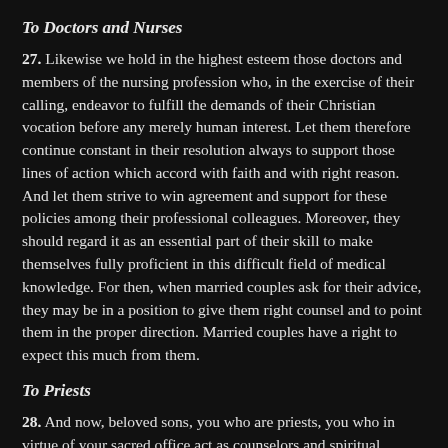To Doctors and Nurses
27. Likewise we hold in the highest esteem those doctors and members of the nursing profession who, in the exercise of their calling, endeavor to fulfill the demands of their Christian vocation before any merely human interest. Let them therefore continue constant in their resolution always to support those lines of action which accord with faith and with right reason. And let them strive to win agreement and support for these policies among their professional colleagues. Moreover, they should regard it as an essential part of their skill to make themselves fully proficient in this difficult field of medical knowledge. For then, when married couples ask for their advice, they may be in a position to give them right counsel and to point them in the proper direction. Married couples have a right to expect this much from them.
To Priests
28. And now, beloved sons, you who are priests, you who in virtue of your sacred office act as counselors and spiritual leaders both of individual men and women and of families—We turn to you filled with great confidence. For it is your principal duty—We are speaking particularly to you—to expound the Church's teaching on marriage to those in your care.